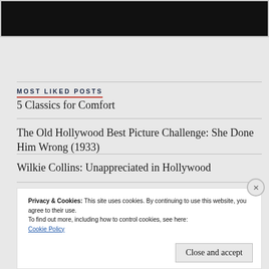[Figure (screenshot): Top portion of a dark/black image, partially cropped, appears to be a movie or entertainment related graphic]
MOST LIKED POSTS
5 Classics for Comfort
The Old Hollywood Best Picture Challenge: She Done Him Wrong (1933)
Wilkie Collins: Unappreciated in Hollywood
Privacy & Cookies: This site uses cookies. By continuing to use this website, you agree to their use.
To find out more, including how to control cookies, see here: Cookie Policy
Close and accept